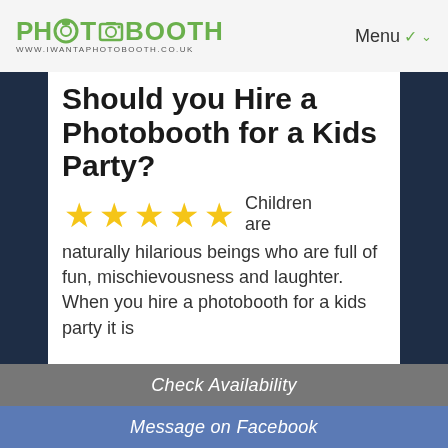[Figure (logo): PHOTOBOOTH logo in green with camera icon replacing the O, and URL www.iwantaphotobooth.co.uk below]
Menu
Should you Hire a Photobooth for a Kids Party?
[Figure (infographic): Five gold/yellow star rating icons]
Children are naturally hilarious beings who are full of fun, mischievousness and laughter. When you hire a photobooth for a kids party it is
Check Availability
Message on Facebook